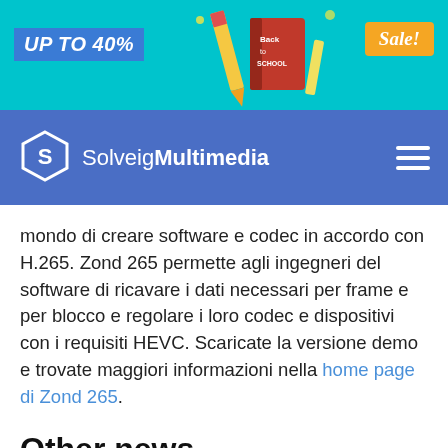[Figure (illustration): Back to School promotional banner with teal background, school supplies illustration in center, 'UP TO 40%' text on left in blue banner, and 'Sale!' orange badge on right]
[Figure (logo): SolveigMultimedia navigation bar with hexagonal logo on blue/purple background and hamburger menu icon]
mondo di creare software e codec in accordo con H.265. Zond 265 permette agli ingegneri del software di ricavare i dati necessari per frame e per blocco e regolare i loro codec e dispositivi con i requisiti HEVC. Scaricate la versione demo e trovate maggiori informazioni nella home page di Zond 265.
Other news